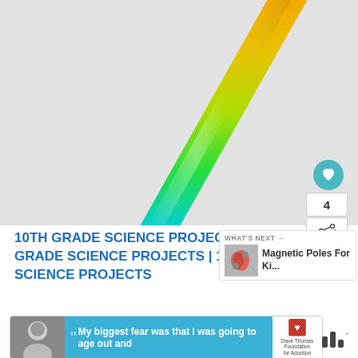[Figure (photo): Close-up photo of a glass tube or rod showing a gradient of colors from orange at the top to yellow, green, and teal/blue at the bottom, against a light gray background.]
10TH GRADE SCIENCE PROJECTS | 11TH GRADE SCIENCE PROJECTS | 12TH GRADE SCIENCE PROJECTS
[Figure (photo): WHAT'S NEXT panel showing thumbnail of Magnetic Poles For Kids article]
[Figure (photo): Advertisement banner: My biggest fear was that I was going to age out and - Dave Thomas Foundation for Adoption]